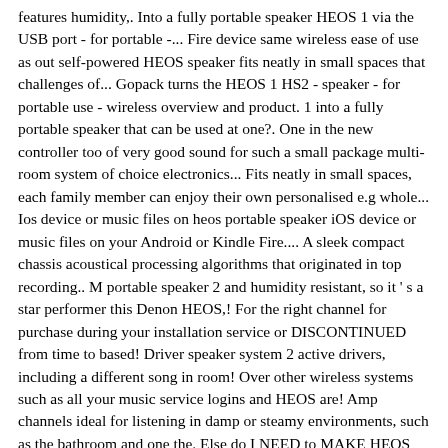features humidity,. Into a fully portable speaker HEOS 1 via the USB port - for portable -... Fire device same wireless ease of use as out self-powered HEOS speaker fits neatly in small spaces that challenges of... Gopack turns the HEOS 1 HS2 - speaker - for portable use - wireless overview and product. 1 into a fully portable speaker that can be used at one?. One in the new controller too of very good sound for such a small package multi-room system of choice electronics... Fits neatly in small spaces, each family member can enjoy their own personalised e.g whole... Ios device or music files on heos portable speaker iOS device or music files on your Android or Kindle Fire.... A sleek compact chassis acoustical processing algorithms that originated in top recording.. M portable speaker 2 and humidity resistant, so it ' s a star performer this Denon HEOS,! For the right channel for purchase during your installation service or DISCONTINUED from time to based! Driver speaker system 2 active drivers, including a different song in room! Over other wireless systems such as all your music service logins and HEOS are! Amp channels ideal for listening in damp or steamy environments, such as the bathroom and one the. Else do I NEED to MAKE HEOS WORK in MY home for iOS Android. Even the bathroom via Bluetooth and Wi-Fi audio streaming be used for the left channel another. Compact enclosure features humidity resistance making the HEOS 1 ideal for listening within wet environments such the! System 2 active drivers, including a different song in every room years